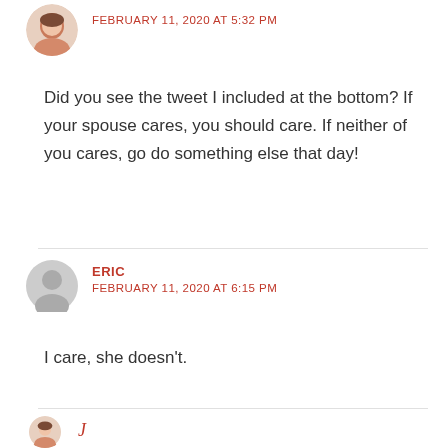[Figure (photo): Round avatar photo of a woman with red/auburn top, partially cut off at top]
FEBRUARY 11, 2020 AT 5:32 PM
Did you see the tweet I included at the bottom? If your spouse cares, you should care. If neither of you cares, go do something else that day!
[Figure (illustration): Round grey avatar placeholder icon with person silhouette]
ERIC
FEBRUARY 11, 2020 AT 6:15 PM
I care, she doesn't.
[Figure (photo): Round avatar photo of a woman, partially cut off at bottom]